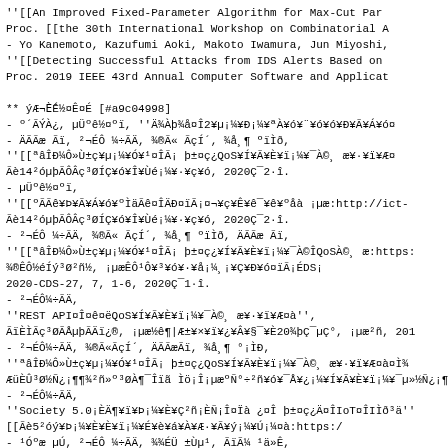''[[An Improved Fixed-Parameter Algorithm for Max-Cut Par
Proc. [[the 30th International Workshop on Combinatorial A
- Yo Kanemoto, Kazufumi Aoki, Makoto Iwamura, Jun Miyoshi,
''[[Detecting Successful Attacks from IDS Alerts Based on
Proc. 2019 IEEE 43rd Annual Computer Software and Applicat
** ýÆ¬È¯É½¤Ê¤É [#a9c04998]
- º´ÃÝÀ¿, µÜºê½¤ºï, ''Ä¾Àþ¾å¤Î2¥µ¡¼¥Ð¡¼¥ªÀ¥ó¥¨¥ó¥ó¥Ð¥Ã¥Á¥ó¤
- ÄÃÃæ Ãï, ²¬ÉÔ ¼÷ÃÄ, ¾®Ã« ÃçÍ´, ¾å¸¶ ºïÌð,
''[[ªâÎÐ¼Ô»Ù±ç¥µ¡¼¥Ó¥¹¤ÎÃ¡ þ±¤ç¿QoS¥Í¥Ã¥È¥ï¡¼¥¯À©¸ æ¥·¥ï¥Æ¤
Ãè14²óµþÃÔÂç³ØÍÇ¥ó¥Î¥Ùé¡¼¥·¥ç¥ó, 2020Ç¯2·î.
- µÜºê½¤ºï,
''[[ºÃÃê¥Þ¥Ã¥Á¥ó¥ºÌäÃê¤ÎÄÐ¤ïÃ¡¤¬¥ç¥Ê¥ê¯¥ê¥ºåà ¡µæ:http://ict-
Ãè14²óµþÃÔÂç³ØÍÇ¥ó¥Î¥Ùé¡¼¥·¥ç¥ó, 2020Ç¯2·î.
- ²¬ÉÔ ¼÷ÃÄ, ¾®Ã« ÃçÍ´, ¾å¸¶ ºïÌð, ÄÃÃæ Ãï,
''[[ªâÎÐ¼Ô»Ù±ç¥µ¡¼¥Ó¥¹¤ÎÃ¡ þ±¤ç¿¥Í¥Ã¥È¥ï¡¼¥¯À©ÎQoSÀ©¸ æ:https:
¾®ÊÔ½éÍý³Ø²ñ½, ¡µæÊÔ¹Ô¥³¥ó¥·¥å¡¼¸¡¥Ç¥Ð¥ó¤ïÃ¡ÉDS¡
2020-CDS-27, 7, 1-6, 2020Ç¯1·î.
- ²¬ÉÔ¼÷ÃÄ,
''REST API¤Î¤ê¤ëQoS¥Í¥Ã¥È¥ï¡¼¥¯À©¸ æ¥·¥ï¥Æ¤à'',
ÃïÈÌÃç³ØÃÅµþÃÄï¿®, ¡µæ½ê¶|Æ±¥×¥ï¥¿¥Â¥§¯¥È20¾þÇ¯µÇ°, ¡µæ²ñ, 201
- ²¬ÉÔ¼÷ÃÄ, ¾®Ã«ÃçÍ´, ÄÃÃæÃï, ¾å¸¶ °¡ÌÐ,
''ªâÎÐ¼Ô»Ù±ç¥µ¡¼¥Ó¥¹¤ÎÃ¡ þ±¤ç¿QoS¥Í¥Ã¥È¥ï¡¼¥¯À©¸ æ¥·¥ï¥Æ¤à¤Ì¾
ÆüÈÛ³Ø½Ñ¿¡¶¶¾²ñ»º³ØÀ¶¯Îïã Ìö¡Î¡µæºÑ°÷²ñ¥ó¥¯Å¥¿¡¼¥Í¥Ã¥È¥ï¡¼¥¯µ»½Ñ¿¡¶¶¾®Ûñ163ºÑ°÷
- ²¬ÉÔ¼÷ÃÄ,
''Society 5.0¡ÈÄ¶¥ï¥Þ¡¼¥È¥Ç²ñ¡ÈÑ¡Î¤Ïà ¿¤Î þ±¤ç¿Ä¤ÎIoT¤ÎIÌð³ä''
[[Ãè5²óý¥Þ¡¼¥È¥È¥ï¡¼¥É¥è¥á¥À¥Æ·¥Ã¥ý¡¼¥Ú¡¼¤à:https:/
- ¹Óºæ µÚ, ²¬ÉÔ ¼÷ÃÄ, ¾¾ÉÜ ±Ùµ¹, ÃïÃ¼ ¹ä»Ê,
''[[¥¯¥é¥¦¥É·¿CAPTCHA¥µ¡¼¥Ó¥¹¤ÎÃ¡ º±¤ç¤ë¡µ³¿£³Ø½¬¬¤òÌÔ¤¬¤¯¥Ü¥Ã¥È
[[Computer Security Symposium 2019 in Nagasaki, 1G3-4:httn